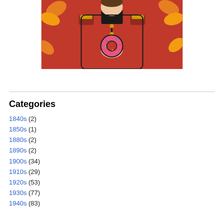[Figure (illustration): Illustration of a person in a red RCMP-style uniform holding a pink frosted donut, surrounded by orange maple leaves on a red background.]
Categories
1840s (2)
1850s (1)
1880s (2)
1890s (2)
1900s (34)
1910s (29)
1920s (53)
1930s (77)
1940s (83)